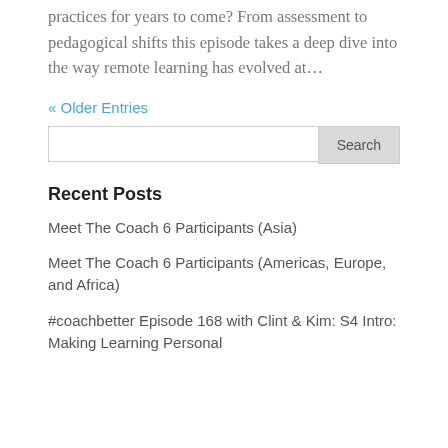practices for years to come? From assessment to pedagogical shifts this episode takes a deep dive into the way remote learning has evolved at…
« Older Entries
Recent Posts
Meet The Coach 6 Participants (Asia)
Meet The Coach 6 Participants (Americas, Europe, and Africa)
#coachbetter Episode 168 with Clint & Kim: S4 Intro: Making Learning Personal